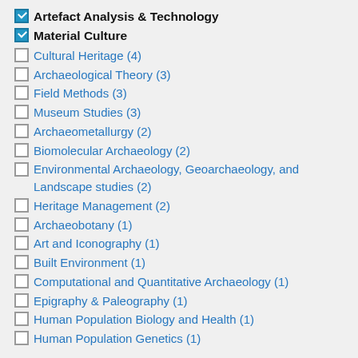☑ Artefact Analysis & Technology
☑ Material Culture
☐ Cultural Heritage (4)
☐ Archaeological Theory (3)
☐ Field Methods (3)
☐ Museum Studies (3)
☐ Archaeometallurgy (2)
☐ Biomolecular Archaeology (2)
☐ Environmental Archaeology, Geoarchaeology, and Landscape studies (2)
☐ Heritage Management (2)
☐ Archaeobotany (1)
☐ Art and Iconography (1)
☐ Built Environment (1)
☐ Computational and Quantitative Archaeology (1)
☐ Epigraphy & Paleography (1)
☐ Human Population Biology and Health (1)
☐ Human Population Genetics (1)